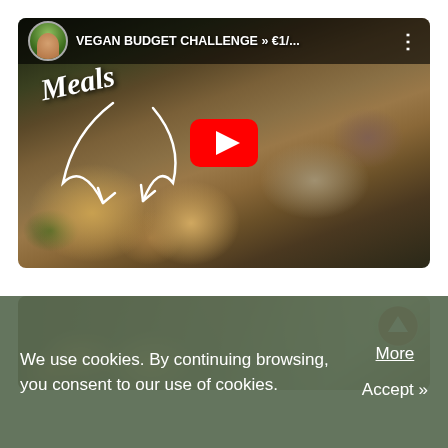[Figure (screenshot): YouTube video thumbnail for 'VEGAN BUDGET CHALLENGE » €1/...' showing food bowls on a dark table with a woman eating; play button overlay; channel avatar; 'Meals' text with arrow]
[Figure (photo): Partial photo strip of food on a wooden surface, partially obscured by cookie consent banner; scroll-up button in upper right corner]
We use cookies. By continuing browsing, you consent to our use of cookies.
More
Accept »